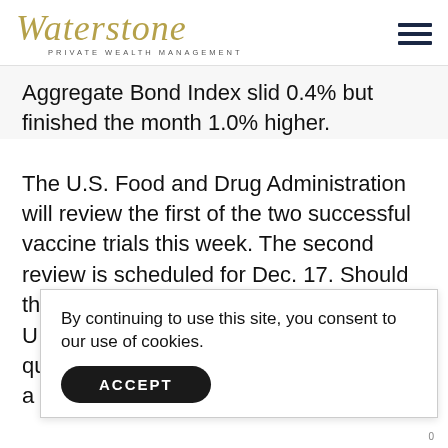[Figure (logo): Waterstone Private Wealth Management logo in gold/olive italic script with hamburger menu icon on the right]
Aggregate Bond Index slid 0.4% but finished the month 1.0% higher.
The U.S. Food and Drug Administration will review the first of the two successful vaccine trials this week. The second review is scheduled for Dec. 17. Should those two vaccines be approved, the U.S. will start deploying the vaccine very quickly. Great Britain has already a
By continuing to use this site, you consent to our use of cookies.
ACCEPT
0